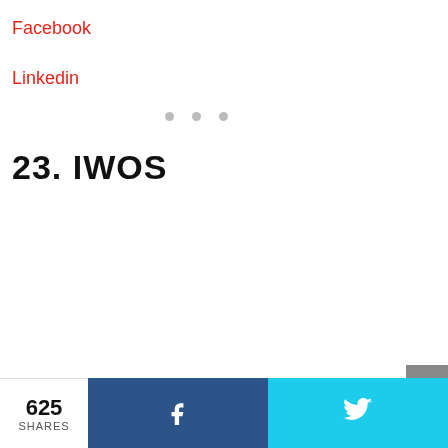Facebook
Linkedin
23. IWOS
625 SHARES  [Facebook share button]  [Twitter share button]